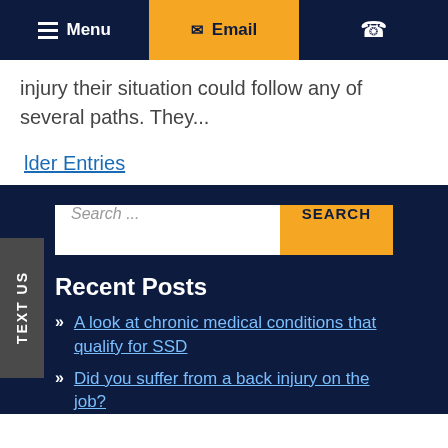Menu | Email | Phone
injury their situation could follow any of several paths. They...
lder Entries
TEXT US
Search ...
Recent Posts
A look at chronic medical conditions that qualify for SSD
Did you suffer from a back injury on the job?